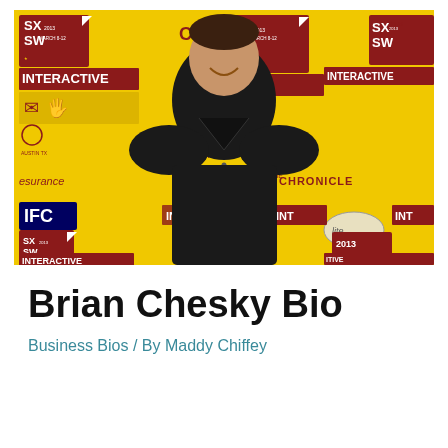[Figure (photo): A man in a black shirt smiling in front of a yellow SXSW Interactive 2013 step-and-repeat banner with logos including esurance, IFC, Yahoo!, Chronicle, and Miller Lite.]
Brian Chesky Bio
Business Bios / By Maddy Chiffey